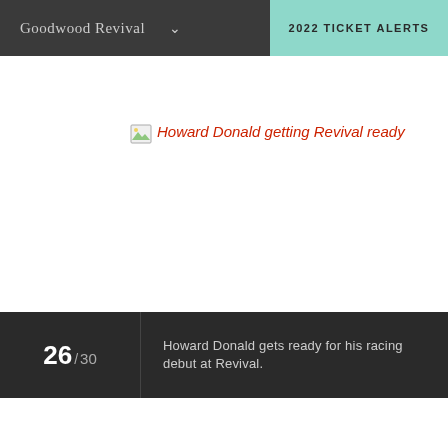Goodwood Revival  2022 TICKET ALERTS
[Figure (photo): Broken image placeholder with alt text: Howard Donald getting Revival ready]
26 / 30  Howard Donald gets ready for his racing debut at Revival.